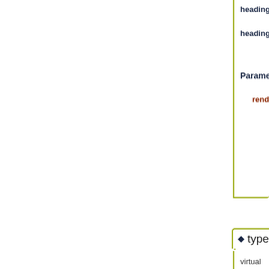headingIndicatorS
headingIndicatorW
Parameters
rendering The ren
◆ type()
virtual
TSLTrackSymbol::Type
TSLTrackPointSymbol::typ
Query the type of this sym
Implements TSLTrackSym
[Figure (other): Diamond bullet icon at bottom of page]